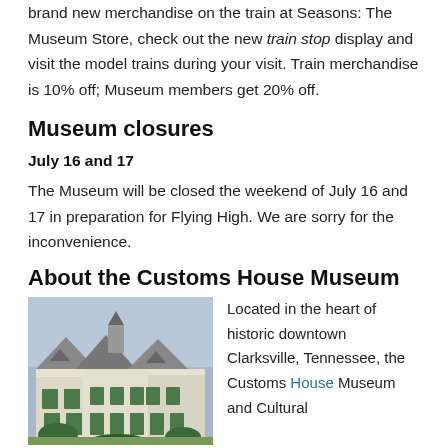brand new merchandise on the train at Seasons: The Museum Store, check out the new train stop display and visit the model trains during your visit. Train merchandise is 10% off; Museum members get 20% off.
Museum closures
July 16 and 17
The Museum will be closed the weekend of July 16 and 17 in preparation for Flying High. We are sorry for the inconvenience.
About the Customs House Museum
[Figure (photo): Exterior photograph of the Customs House Museum building showing distinctive rooflines and architecture in historic downtown Clarksville, Tennessee.]
Located in the heart of historic downtown Clarksville, Tennessee, the Customs House Museum and Cultural